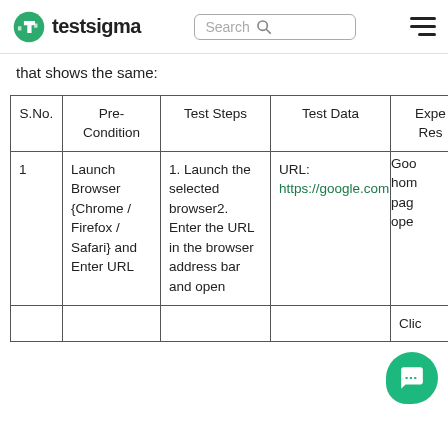testsigma [logo] | Search | [hamburger menu]
that shows the same:
| S.No. | Pre-Condition | Test Steps | Test Data | Expected Result |
| --- | --- | --- | --- | --- |
| 1 | Launch Browser {Chrome / Firefox / Safari} and Enter URL | 1. Launch the selected browser2. Enter the URL in the browser address bar and open | URL: https://google.com | Google home page open |
|  |  | Click... |  |  |